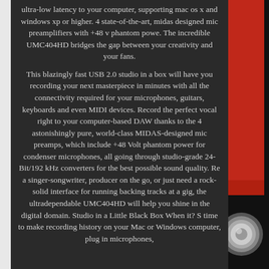ultra-low latency to your computer, supporting mac os x and windows xp or higher. 4 state-of-the-art, midas designed mic preamplifiers with +48 v phantom powe. The incredible UMC404HD bridges the gap between your creativity and your fans.
This blazingly fast USB 2.0 studio in a box will have you recording your next masterpiece in minutes with all the connectivity required for your microphones, guitars, keyboards and even MIDI devices. Record the perfect vocal right to your computer-based DAW thanks to the 4 astonishingly pure, world-class MIDAS-designed mic preamps, which include +48 Volt phantom power for condenser microphones, all going through studio-grade 24-Bit/192 kHz converters for the best possible sound quality. Re a singer-songwriter, producer on the go, or just need a rock-solid interface for running backing tracks at a gig, the ultradependable UMC404HD will help you shine in the digital domain. Studio in a Little Black Box When it? S time to make recording history on your Mac or Windows computer, plug in microphones,
[Figure (photo): Right side of page showing a red and black audio interface device (Behringer UMC404HD) with a large knob visible against a dark background]